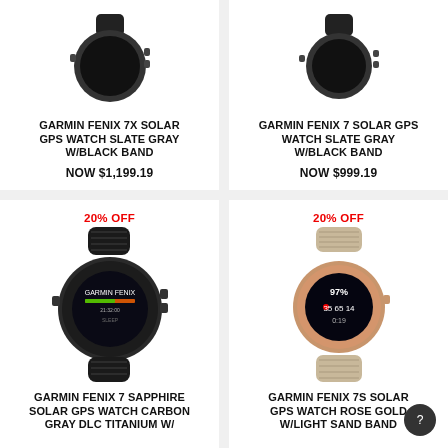[Figure (photo): Garmin Fenix 7X Solar GPS Watch Slate Gray w/ Black Band product image (top portion visible)]
GARMIN FENIX 7X SOLAR GPS WATCH SLATE GRAY W/BLACK BAND
NOW $1,199.19
[Figure (photo): Garmin Fenix 7 Solar GPS Watch Slate Gray w/ Black Band product image (top portion visible)]
GARMIN FENIX 7 SOLAR GPS WATCH SLATE GRAY W/BLACK BAND
NOW $999.19
20% OFF
[Figure (photo): Garmin Fenix 7 Sapphire Solar GPS Watch Carbon Gray DLC Titanium w/ Black Band product image]
GARMIN FENIX 7 SAPPHIRE SOLAR GPS WATCH CARBON GRAY DLC TITANIUM W/
20% OFF
[Figure (photo): Garmin Fenix 7S Solar GPS Watch Rose Gold w/ Light Sand Band product image]
GARMIN FENIX 7S SOLAR GPS WATCH ROSE GOLD W/LIGHT SAND BAND